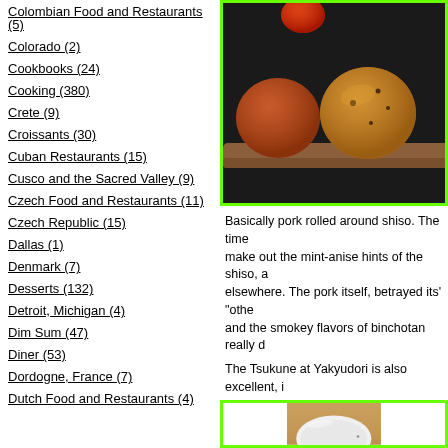Colombian Food and Restaurants (5)
Colorado (2)
Cookbooks (24)
Cooking (380)
Crete (9)
Croissants (30)
Cuban Restaurants (15)
Cusco and the Sacred Valley (9)
Czech Food and Restaurants (11)
Czech Republic (15)
Dallas (1)
Denmark (7)
Desserts (132)
Detroit, Michigan (4)
Dim Sum (47)
Diner (53)
Dordogne, France (7)
Dutch Food and Restaurants (4)
[Figure (photo): Grilled pork skewers with shiso on a dark plate]
Basically pork rolled around shiso. The time... make out the mint-anise hints of the shiso, a... elsewhere. The pork itself, betrayed its' "othe... and the smokey flavors of binchotan really d...
The Tsukune at Yakyudori is also excellent, i...
[Figure (photo): White plate or bowl on wooden surface, partial view]